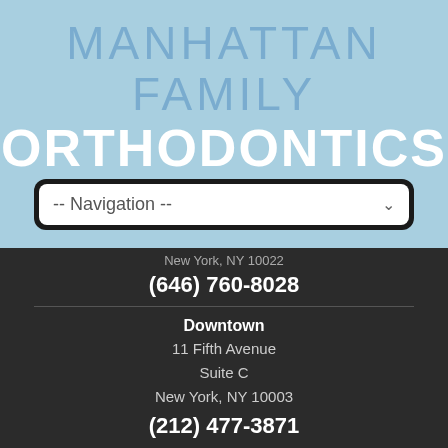[Figure (logo): Manhattan Family Orthodontics logo with light blue background, light blue thin text for MANHATTAN FAMILY and bold white text for ORTHODONTICS]
-- Navigation --
New York, NY 10022
(646) 760-8028
Downtown
11 Fifth Avenue
Suite C
New York, NY 10003
(212) 477-3871